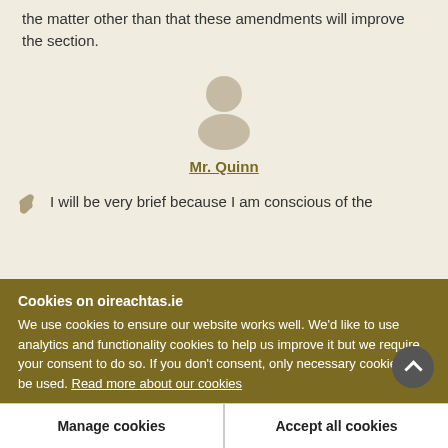the matter other than that these amendments will improve the section.
[Figure (illustration): Generic user/person avatar placeholder icon (grey silhouette of head and shoulders)]
Mr. Quinn
I will be very brief because I am conscious of the
Cookies on oireachtas.ie
We use cookies to ensure our website works well. We'd like to use analytics and functionality cookies to help us improve it but we require your consent to do so. If you don't consent, only necessary cookies will be used. Read more about our cookies
Manage cookies
Accept all cookies